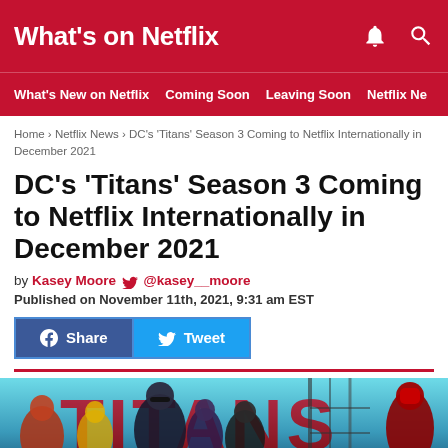What's on Netflix
What's New on Netflix | Coming Soon | Leaving Soon | Netflix Ne
Home › Netflix News › DC's 'Titans' Season 3 Coming to Netflix Internationally in December 2021
DC's 'Titans' Season 3 Coming to Netflix Internationally in December 2021
by Kasey Moore 🐦 @kasey__moore
Published on November 11th, 2021, 9:31 am EST
[Figure (screenshot): Share and Tweet social media buttons (Facebook and Twitter)]
[Figure (photo): Promotional image for DC's Titans Season 3 showing superhero characters in costumes against a blue-teal background with red letters TITANS]